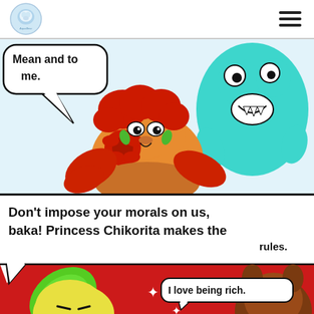[Figure (illustration): Webcomic page header with a circular logo/avatar on the left and a hamburger menu icon on the right, on a white background.]
[Figure (illustration): Top comic panel showing a cartoon orange cat character with red hair and a teal/cyan monster character. Speech bubble reads 'Mean and to me.']
[Figure (illustration): Bottom comic panel with red background. Large speech bubble reads 'Don't impose your morals on us, baka! Princess Chikorita makes the rules.' A smaller bubble reads 'I love being rich.' Characters include a green-haired yellow creature and a brown creature.]